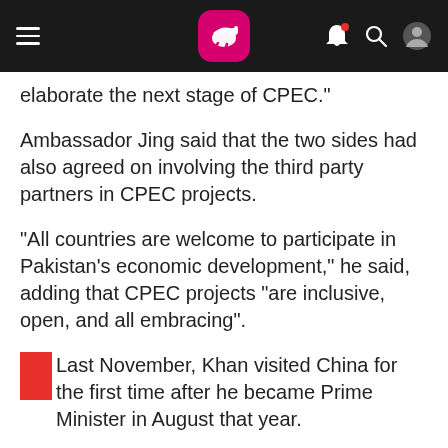[Figure (screenshot): Mobile app header bar with hamburger menu on left, pink/magenta kangaroo logo in center, notification bell with red dot, search icon, and user profile icon on right, all on dark background]
elaborate the next stage of CPEC."
Ambassador Jing said that the two sides had also agreed on involving the third party partners in CPEC projects.
"All countries are welcome to participate in Pakistan's economic development," he said, adding that CPEC projects "are inclusive, open, and all embracing".
Last November, Khan visited China for the first time after he became Prime Minister in August that year.